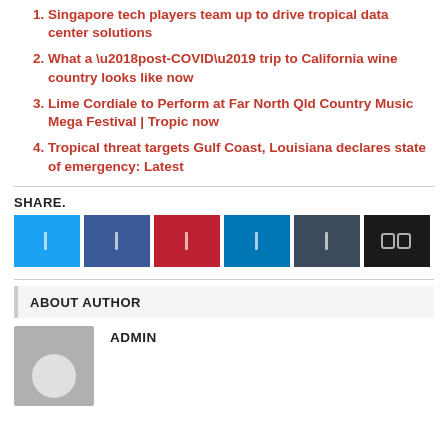Singapore tech players team up to drive tropical data center solutions
What a ‘post-COVID’ trip to California wine country looks like now
Lime Cordiale to Perform at Far North Qld Country Music Mega Festival | Tropic now
Tropical threat targets Gulf Coast, Louisiana declares state of emergency: Latest
SHARE.
[Figure (other): Social sharing buttons: Twitter, Facebook, Pinterest, LinkedIn, dark social, and a counter button]
ABOUT AUTHOR
ADMIN